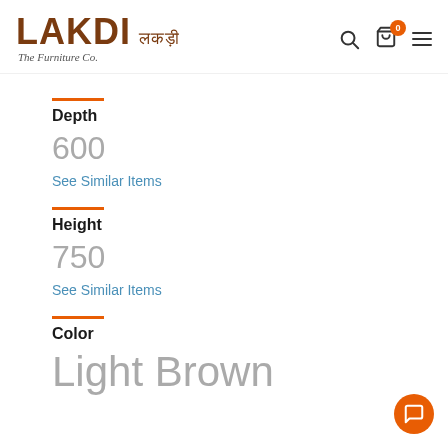LAKDI लकड़ी The Furniture Co.
Depth
600
See Similar Items
Height
750
See Similar Items
Color
Light Brown